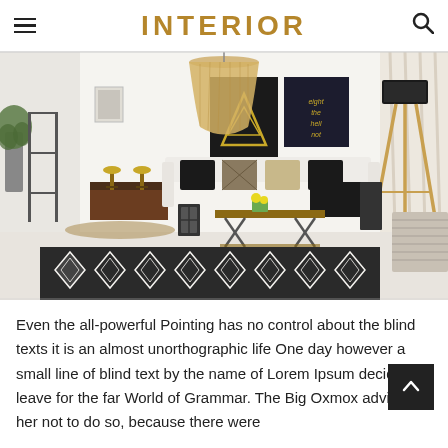INTERIOR
[Figure (photo): Bright modern living room interior with a white sofa, geometric coffee table, wicker pendant lamp, tripod floor lamp, decorative wall art posters, bar stools at a counter, and a black-and-white patterned rug on the floor.]
Even the all-powerful Pointing has no control about the blind texts it is an almost unorthographic life One day however a small line of blind text by the name of Lorem Ipsum decided to leave for the far World of Grammar. The Big Oxmox advised her not to do so, because there were